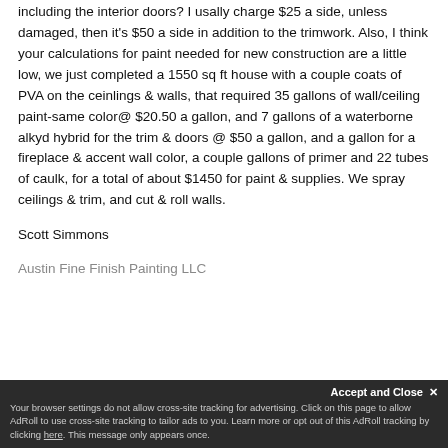including the interior doors? I usally charge $25 a side, unless damaged, then it's $50 a side in addition to the trimwork. Also, I think your calculations for paint needed for new construction are a little low, we just completed a 1550 sq ft house with a couple coats of PVA on the ceinlings & walls, that required 35 gallons of wall/ceiling paint-same color@ $20.50 a gallon, and 7 gallons of a waterborne alkyd hybrid for the trim & doors @ $50 a gallon, and a gallon for a fireplace & accent wall color, a couple gallons of primer and 22 tubes of caulk, for a total of about $1450 for paint & supplies. We spray ceilings & trim, and cut & roll walls.
Scott Simmons
Austin Fine Finish Painting LLC
Accept and Close ✕ Your browser settings do not allow cross-site tracking for advertising. Click on this page to allow AdRoll to use cross-site tracking to tailor ads to you. Learn more or opt out of this AdRoll tracking by clicking here. This message only appears once.